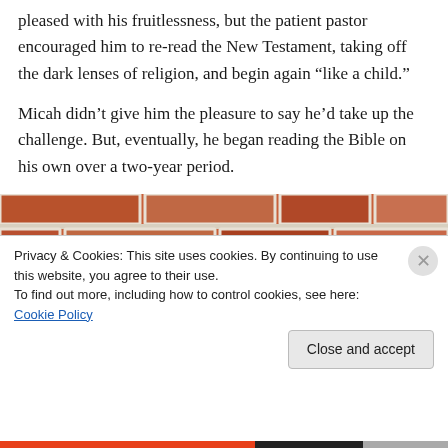pleased with his fruitlessness, but the patient pastor encouraged him to re-read the New Testament, taking off the dark lenses of religion, and begin again “like a child.”
Micah didn’t give him the pleasure to say he’d take up the challenge. But, eventually, he began reading the Bible on his own over a two-year period.
[Figure (photo): A brick wall with white mortar joints, partially showing the top of a person's dark hair peeking up from the bottom.]
Privacy & Cookies: This site uses cookies. By continuing to use this website, you agree to their use.
To find out more, including how to control cookies, see here: Cookie Policy